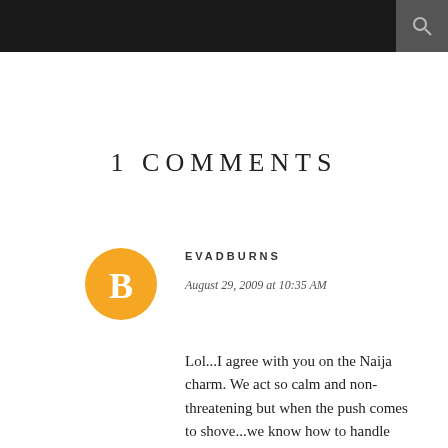1 COMMENTS
EVADBURNS
August 29, 2009 at 10:35 AM
Lol...I agree with you on the Naija charm. We act so calm and non-threatening but when the push comes to shove...we know how to handle ourselves. My mom